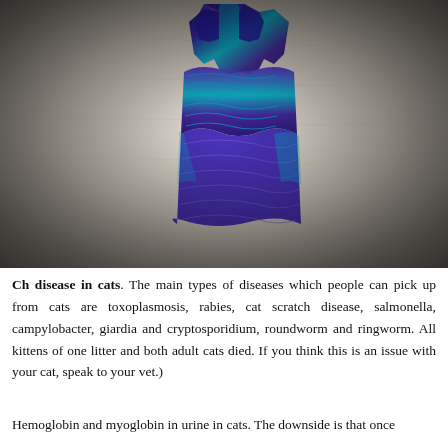[Figure (photo): A blue and purple tie-dyed or ruched fabric item (resembling a small garment or cloth) photographed from above on a textured white/cream surface, with dark vignette around the edges.]
Ch disease in cats. The main types of diseases which people can pick up from cats are toxoplasmosis, rabies, cat scratch disease, salmonella, campylobacter, giardia and cryptosporidium, roundworm and ringworm. All kittens of one litter and both adult cats died. If you think this is an issue with your cat, speak to your vet.)
Hemoglobin and myoglobin in urine in cats. The downside is that once